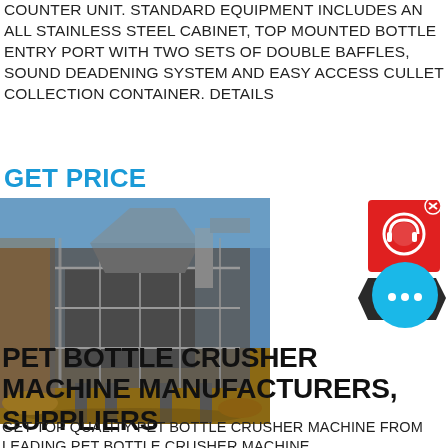COUNTER UNIT. STANDARD EQUIPMENT INCLUDES AN ALL STAINLESS STEEL CABINET, TOP MOUNTED BOTTLE ENTRY PORT WITH TWO SETS OF DOUBLE BAFFLES, SOUND DEADENING SYSTEM AND EASY ACCESS CULLET COLLECTION CONTAINER. DETAILS
GET PRICE
[Figure (photo): Industrial crushing/milling machine installation outdoors with metal framework, elevated platform, and blue sky background]
[Figure (other): Chat widget: red circle with headset icon and 'x' close button, dark hexagon badge with 'Chat Now' text]
[Figure (other): Blue circular chat/messaging button with three dots (ellipsis) icon]
PET BOTTLE CRUSHER MACHINE MANUFACTURERS, SUPPLIERS
GET TOP QUALITY PET BOTTLE CRUSHER MACHINE FROM LEADING PET BOTTLE CRUSHER MACHINE